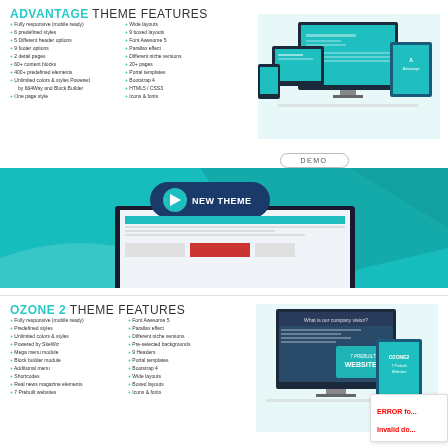ADVANTAGE THEME FEATURES
+ Fully responsive (mobile ready)
+ Wide layouts
+ 6 predefined styles
+ 9 boxed layouts
+ 5 Different header options
+ Font Awesome 5
+ 9 footer options
+ Parallax effect
+ 2 detail pages
+ Different niche versions
+ 60+ content blocks
+ 20+ pages
+ 400+ predefined elements
+ Portal templates
+ Unlimited colors & styles Powered by SiteWiz and Block Builder
+ Bootstrap 4
+ One page style
+ HTML5 / CSS3
+ Icons & fonts
[Figure (screenshot): Advantage theme screenshot showing devices (desktop, tablet, phone) with theme preview and product box]
DEMO
[Figure (screenshot): Teal banner with laptop showing NEW THEME website preview]
OZONE 2 THEME FEATURES
+ Fully responsive (mobile ready)
+ Font Awesome 5
+ Predefined styles
+ Parallax effect
+ Unlimited colors & styles
+ Different niche versions
+ Powered by SiteWiz
+ Pre-selected backgrounds
+ Mega menu module
+ 9 Headers
+ Block builder module
+ Portal templates
+ Additional menu
+ Bootstrap 4
+ Shortcodes
+ Wide layouts
+ Real news magazine elements
+ Boxed layouts
+ 7 Prebuilt websites
+ Icons & fonts
[Figure (screenshot): Ozone 2 theme screenshot showing desktop monitor with theme preview and product box '7 Prebuilt Websites']
ERROR fo... Invalid do...